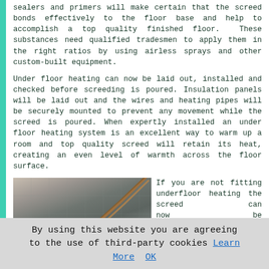sealers and primers will make certain that the screed bonds effectively to the floor base and help to accomplish a top quality finished floor. These substances need qualified tradesmen to apply them in the right ratios by using airless sprays and other custom-built equipment.
Under floor heating can now be laid out, installed and checked before screeding is poured. Insulation panels will be laid out and the wires and heating pipes will be securely mounted to prevent any movement while the screed is poured. When expertly installed an under floor heating system is an excellent way to warm up a room and top quality screed will retain its heat, creating an even level of warmth across the floor surface.
[Figure (photo): Photo of underfloor heating pipes/wires laid on a grey mesh or insulation surface, with a white bracket or clip visible in the lower-left area.]
If you are not fitting underfloor heating the screed can now be mixed and prepared on site and
By using this website you are agreeing to the use of third-party cookies Learn More OK